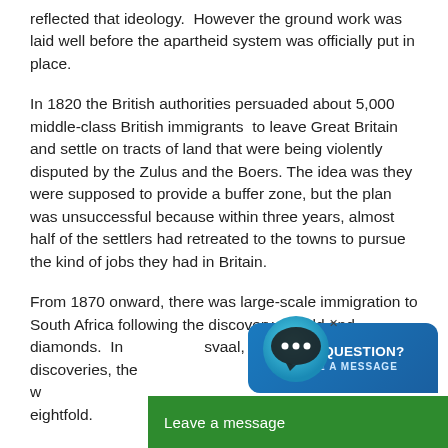reflected that ideology.  However the ground work was laid well before the apartheid system was officially put in place.
In 1820 the British authorities persuaded about 5,000 middle-class British immigrants  to leave Great Britain and settle on tracts of land that were being violently disputed by the Zulus and the Boers. The idea was they were supposed to provide a buffer zone, but the plan was unsuccessful because within three years, almost half of the settlers had retreated to the towns to pursue the kind of jobs they had in Britain.
From 1870 onward, there was large-scale immigration to South Africa following the discovery of gold and diamonds.  In [Transvaal], the site of the gold discoveries, the w[hite] population [grew] eightfold.
[Figure (other): Chat widget overlay: a circular chat bubble icon with three dots, a blue 'HAVE QUESTION? LEAVE A MESSAGE' box, and a green bottom bar reading 'Leave a message' with an upward caret arrow.]